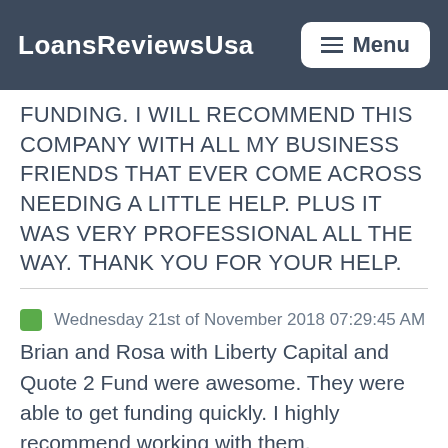LoansReviewsUsa   ≡ Menu
FUNDING. I WILL RECOMMEND THIS COMPANY WITH ALL MY BUSINESS FRIENDS THAT EVER COME ACROSS NEEDING A LITTLE HELP. PLUS IT WAS VERY PROFESSIONAL ALL THE WAY. THANK YOU FOR YOUR HELP.
Wednesday 21st of November 2018 07:29:45 AM
Brian and Rosa with Liberty Capital and Quote 2 Fund were awesome. They were able to get funding quickly. I highly recommend working with them.
Monday 18th of July 2016 10:43:17 PM